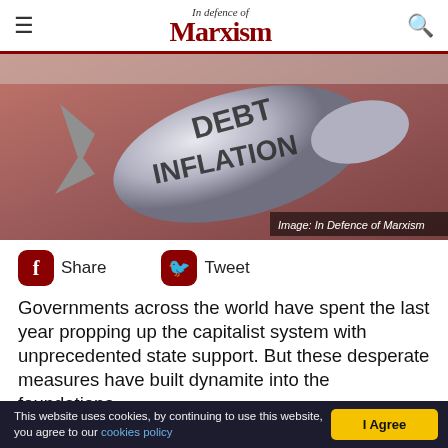In defence of Marxism
[Figure (photo): A metallic bullet or bomb with the words DEBT and INFLATION engraved on it, against a reddish background. Caption reads: Image: In Defence of Marxism]
Share   Tweet
Governments across the world have spent the last year propping up the capitalist system with unprecedented state support. But these desperate measures have built dynamite into the foundations
This website uses cookies, by continuing to use this website, you agree to our cookies policy   I Agree